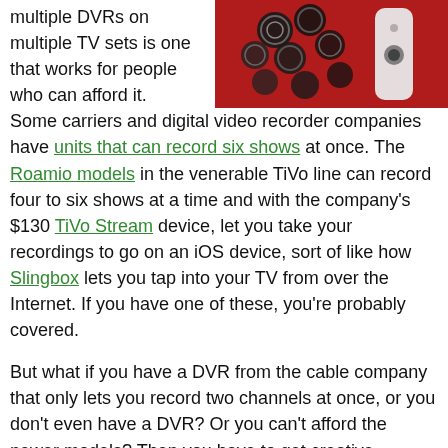multiple DVRs on multiple TV sets is one that works for people who can afford it.
[Figure (photo): Photo of an Apple TV remote and casino chips on a red background]
Some carriers and digital video recorder companies have units that can record six shows at once. The Roamio models in the venerable TiVo line can record four to six shows at a time and with the company's $130 TiVo Stream device, let you take your recordings to go on an iOS device, sort of like how Slingbox lets you tap into your TV from over the Internet. If you have one of these, you're probably covered.
But what if you have a DVR from the cable company that only lets you record two channels at once, or you don't even have a DVR? Or you can't afford the newer models? Then you have to get creative.